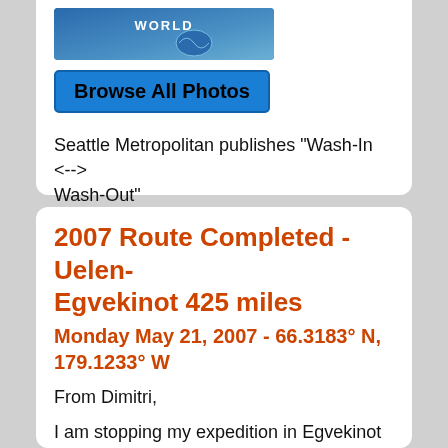[Figure (screenshot): Partial screenshot of a map or world image with blue background]
Browse All Photos
Seattle Metropolitan publishes "Wash-In <--> Wash-Out"
2007 Route Completed - Uelen-Egvekinot 425 miles
Monday May 21, 2007 - 66.3183° N, 179.1233° W
From Dimitri,
I am stopping my expedition in Egvekinot this year for the following 2 reasons:
- After having talked to a lot of locals (hunters, wezdehod drivers,etc...) I have